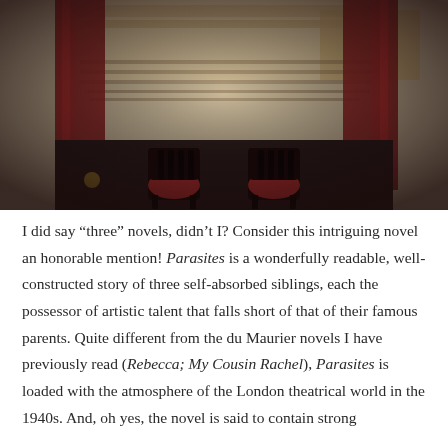[Figure (photo): A photograph of a book cover or print showing the interior of a grand theatre viewed from stage level, with red curtains on the sides, rows of ornate seating visible in the background, and two red-cushioned black chairs in the foreground. The image has a dark vignette effect around the edges.]
I did say “three” novels, didn’t I? Consider this intriguing novel an honorable mention! Parasites is a wonderfully readable, well-constructed story of three self-absorbed siblings, each the possessor of artistic talent that falls short of that of their famous parents. Quite different from the du Maurier novels I have previously read (Rebecca; My Cousin Rachel), Parasites is loaded with the atmosphere of the London theatrical world in the 1940s. And, oh yes, the novel is said to contain strong